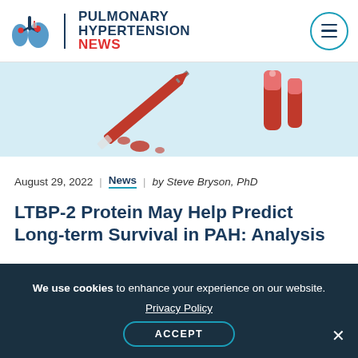PULMONARY HYPERTENSION NEWS
[Figure (illustration): Partial view of a medical/laboratory illustration showing a syringe and red test tubes on a light blue background]
August 29, 2022 | News | by Steve Bryson, PhD
LTBP-2 Protein May Help Predict Long-term Survival in PAH: Analysis
[Figure (illustration): White envelope/newsletter icon on dark teal background]
We use cookies to enhance your experience on our website. Privacy Policy ACCEPT